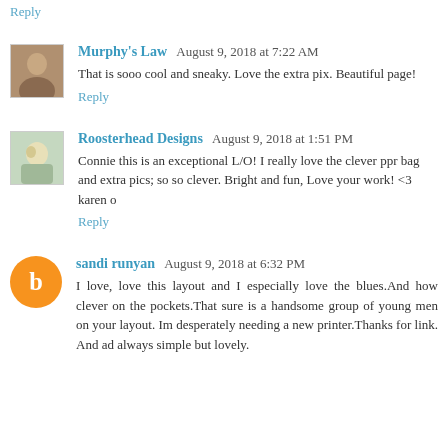Reply
Murphy's Law  August 9, 2018 at 7:22 AM
That is sooo cool and sneaky. Love the extra pix. Beautiful page!
Reply
Roosterhead Designs  August 9, 2018 at 1:51 PM
Connie this is an exceptional L/O! I really love the clever ppr bag and extra pics; so so clever. Bright and fun, Love your work! <3 karen o
Reply
sandi runyan  August 9, 2018 at 6:32 PM
I love, love this layout and I especially love the blues.And how clever on the pockets.That sure is a handsome group of young men on your layout. Im desperately needing a new printer.Thanks for link. And ad always simple but lovely.